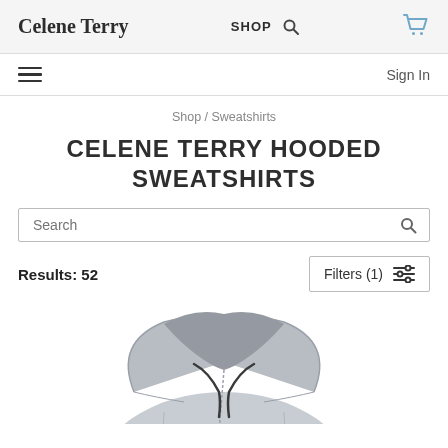Celene Terry | SHOP | [search icon] | [cart icon]
≡   Sign In
Shop / Sweatshirts
CELENE TERRY HOODED SWEATSHIRTS
Search
Results: 52    Filters (1)
[Figure (photo): Partial view of a light grey hooded sweatshirt, showing the hood and upper chest area.]